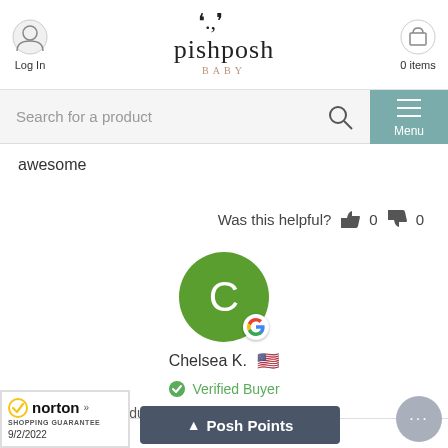Log In | pishposh BABY | 0 items
Search for a product
Menu
awesome
Was this helpful?  0  0
[Figure (illustration): Green circle avatar with letter C and Google badge, representing reviewer Chelsea K.]
Chelsea K. 🇺🇸
✓ Verified Buyer
end this product
↑ Posh Points
[Figure (logo): Norton Shopping Guarantee badge with date 9/2/2022]